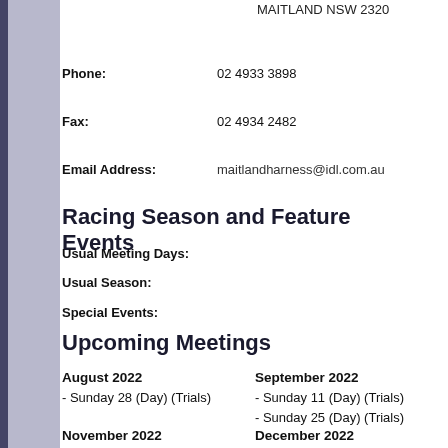MAITLAND NSW 2320
Phone: 02 4933 3898
Fax: 02 4934 2482
Email Address: maitlandharness@idl.com.au
Racing Season and Feature Events
Usual Meeting Days:
Usual Season:
Special Events:
Upcoming Meetings
August 2022
- Sunday 28 (Day) (Trials)
September 2022
- Sunday 11 (Day) (Trials)
- Sunday 25 (Day) (Trials)
November 2022
- Sunday 13 (Day) (Trials)
December 2022
- Friday 23 (Night)